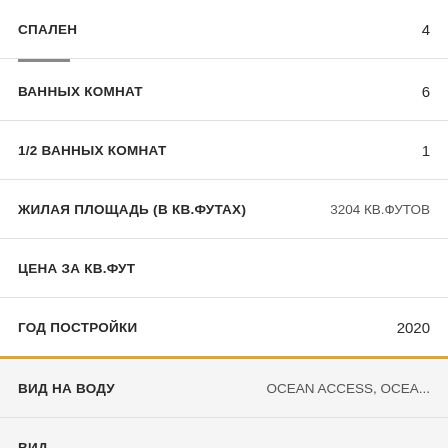| Характеристика | Значение |
| --- | --- |
| СПАЛЕН | 4 |
| ВАННЫХ КОМНАТ | 6 |
| 1/2 ВАННЫХ КОМНАТ | 1 |
| ЖИЛАЯ ПЛОЩАДЬ (В КВ.ФУТАХ) | 3204 КВ.ФУТОВ |
| ЦЕНА ЗА КВ.ФУТ |  |
| ГОД ПОСТРОЙКИ | 2020 |
| ВИД НА ВОДУ | OCEAN ACCESS, OCEA... |
| ВИД |  |
| БАССЕЙН | YES |
| СТИЛЬ |  |
| СТРОИТЕЛЬСТВО | CBS CONSTRUCTION |
| ПАРКОВКА | 2 SPACES, COVERED, V... |
| ТИП НАСТИЛА | MARBLE, OTHER |